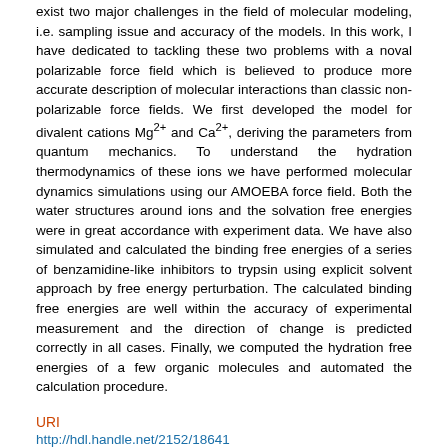exist two major challenges in the field of molecular modeling, i.e. sampling issue and accuracy of the models. In this work, I have dedicated to tackling these two problems with a noval polarizable force field which is believed to produce more accurate description of molecular interactions than classic non-polarizable force fields. We first developed the model for divalent cations Mg²⁺ and Ca²⁺, deriving the parameters from quantum mechanics. To understand the hydration thermodynamics of these ions we have performed molecular dynamics simulations using our AMOEBA force field. Both the water structures around ions and the solvation free energies were in great accordance with experiment data. We have also simulated and calculated the binding free energies of a series of benzamidine-like inhibitors to trypsin using explicit solvent approach by free energy perturbation. The calculated binding free energies are well within the accuracy of experimental measurement and the direction of change is predicted correctly in all cases. Finally, we computed the hydration free energies of a few organic molecules and automated the calculation procedure.
URI
http://hdl.handle.net/2152/18641
Collections